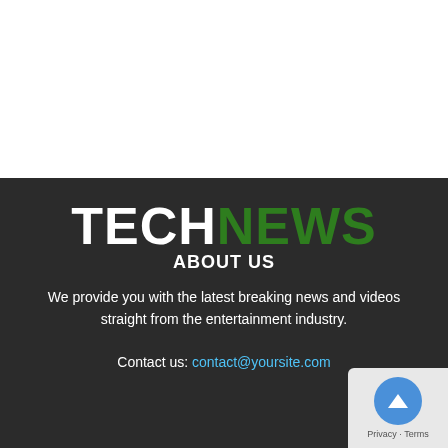TECHNEWS
ABOUT US
We provide you with the latest breaking news and videos straight from the entertainment industry.
Contact us: contact@yoursite.com